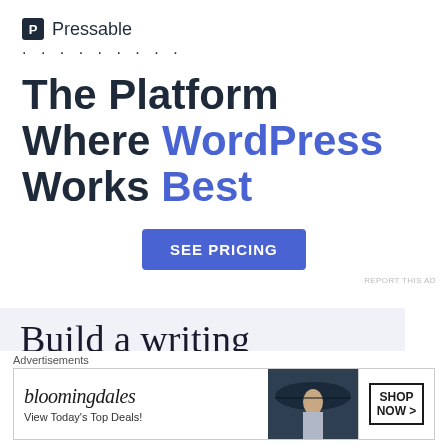[Figure (other): Pressable advertisement: logo with 'P' icon and 'Pressable' text, decorative dots, headline 'The Platform Where WordPress Works Best' with 'WordPress Works Best' in blue, and a blue 'SEE PRICING' button.]
REPORT THIS AD
[Figure (other): Advertisement for a writing platform with large serif text 'Build a writing habit. Post on' on a light blue-grey background.]
[Figure (other): Close/dismiss button — circle with X symbol.]
Advertisements
[Figure (other): Bloomingdale's advertisement banner with logo text 'bloomingdales', subtext 'View Today's Top Deals!', woman with wide-brim hat, and 'SHOP NOW >' button.]